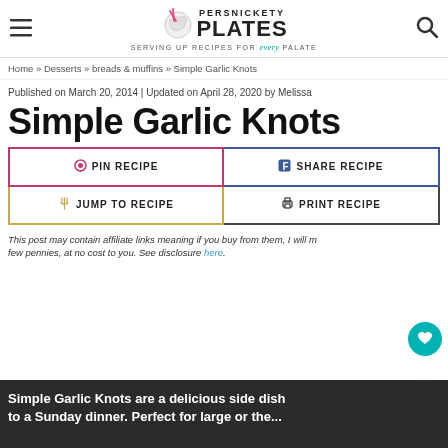Persnickety Plates — Serving up recipes for every palate
Home » Desserts » breads & muffins » Simple Garlic Knots
Published on March 20, 2014 | Updated on April 28, 2020 by Melissa
Simple Garlic Knots
PIN RECIPE | SHARE RECIPE | JUMP TO RECIPE | PRINT RECIPE
This post may contain affiliate links meaning if you buy from them, I will make a few pennies, at no cost to you. See disclosure here.
Simple Garlic Knots are a delicious side dish to a Sunday dinner. Perfect for large or the...